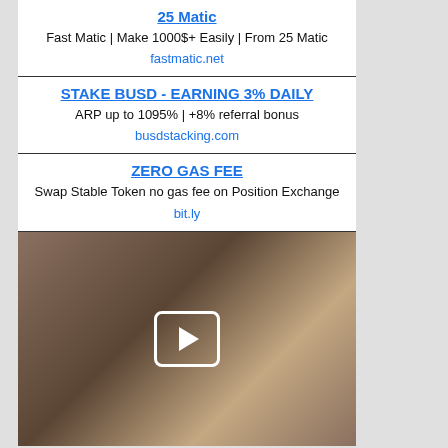25 Matic
Fast Matic | Make 1000$+ Easily | From 25 Matic
fastmatic.net
STAKE BUSD - EARNING 3% DAILY
ARP up to 1095% | +8% referral bonus
busdstacking.com
ZERO GAS FEE
Swap Stable Token no gas fee on Position Exchange
bit.ly
[Figure (photo): Explicit adult content image with play button overlay]